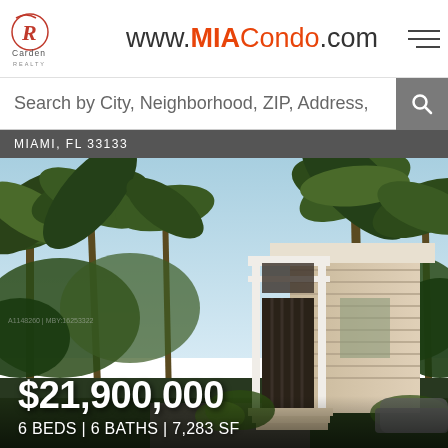www.MIACondo.com
Search by City, Neighborhood, ZIP, Address,
MIAMI, FL 33133
[Figure (photo): Exterior rendering of a modern luxury home surrounded by palm trees in Miami, FL 33133. The house features wood cladding, a white geometric pergola frame, and contemporary architecture.]
$21,900,000
6 BEDS | 6 BATHS | 7,283 SF